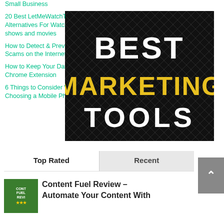Small Business
20 Best LetMeWatchThis Alternatives For Watching TV shows and movies
How to Detect & Prevent Military Scams on the Internet
How to Keep Your Data Safe With a Chrome Extension
6 Things to Consider When Choosing a Mobile Phone Plan
[Figure (illustration): Black background image with bold white text 'BEST' and yellow text 'MARKETING' and white text 'TOOLS' arranged vertically with a diamond pattern overlay]
Top Rated
Recent
[Figure (photo): Thumbnail for 'Content Fuel Review' showing a person at desk, green background with 'CONT FUEL REVI' text and star rating]
Content Fuel Review – Automate Your Content With